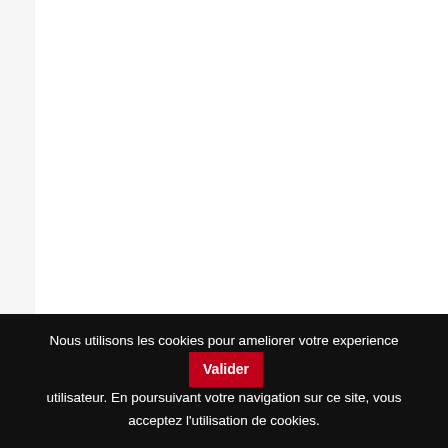fresh fruit and vegetables, food a...
Jardins du Rocher (Le...
5
98
C...
gifts and souvenirs supplies, pe...
Jasré Gems et Joyaux...
Nous utilisons les cookies pour ameliorer votre experience utilisateur. En poursuivant votre navigation sur ce site, vous acceptez l'utilisation de cookies.